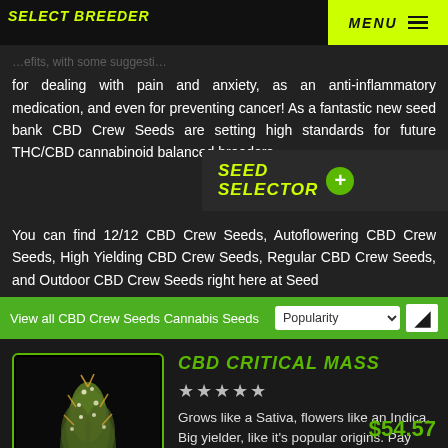SELECT BREEDER | MENU
for dealing with pain and anxiety, as an anti-inflammatory medication, and even for preventing cancer! As a fantastic new seed bank CBD Crew Seeds are setting high standards for future THC/CBD cannabinoid balanced breeders.
You can find 12/12 CBD Crew Seeds, Autoflowering CBD Crew Seeds, High Yielding CBD Crew Seeds, Regular CBD Crew Seeds, and Outdoor CBD Crew Seeds right here at Seed
View all CBD Crew Seeds Cannabis Seeds
CBD CRITICAL MASS
[Figure (photo): Cannabis bud photograph with dark background]
Grows like a Sativa, flowers like an Indica. Big yielder, like it's popular origins. Pay attention to supporting the plant during the final stage of flowering,...
$54.57